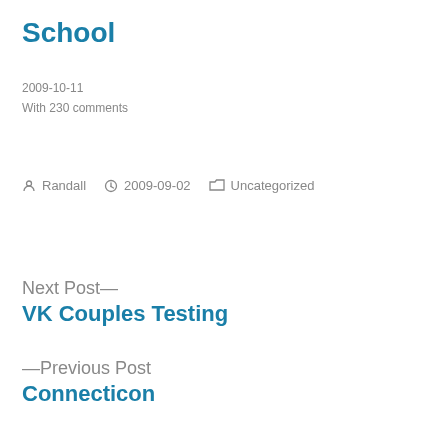School
2009-10-11
With 230 comments
Randall   2009-09-02   Uncategorized
Next Post—
VK Couples Testing
—Previous Post
Connectioncon